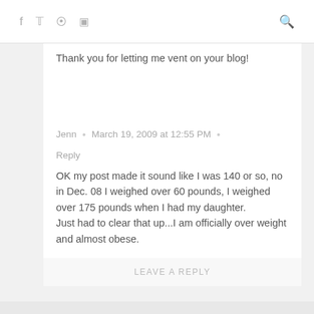f  𝕥   Pinterest  Instagram  Search
Thank you for letting me vent on your blog!
Jenn • March 19, 2009 at 12:55 PM • Reply
OK my post made it sound like I was 140 or so, no in Dec. 08 I weighed over 60 pounds, I weighed over 175 pounds when I had my daughter.
Just had to clear that up...I am officially over weight and almost obese.
LEAVE A REPLY